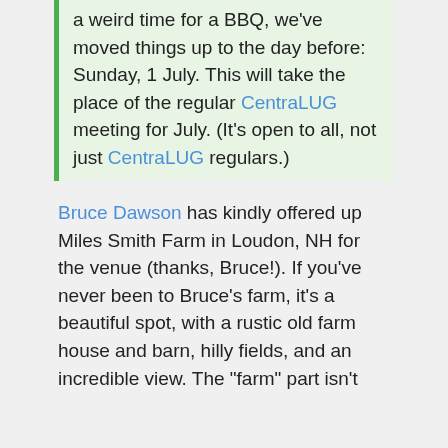a weird time for a BBQ, we've moved things up to the day before: Sunday, 1 July. This will take the place of the regular CentraLUG meeting for July. (It's open to all, not just CentraLUG regulars.)
Bruce Dawson has kindly offered up Miles Smith Farm in Loudon, NH for the venue (thanks, Bruce!). If you've never been to Bruce's farm, it's a beautiful spot, with a rustic old farm house and barn, hilly fields, and an incredible view. The "farm" part isn't